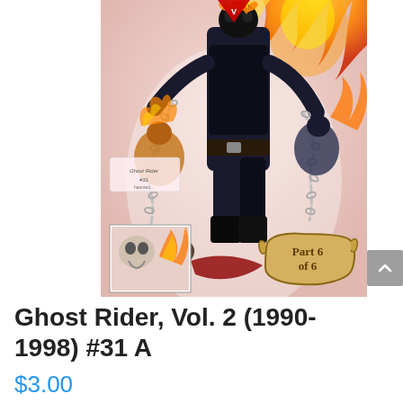[Figure (illustration): Comic book cover of Ghost Rider Vol. 2 #31 A showing action scene with Ghost Rider wielding chains, multiple figures, fire effects, and a scroll in the bottom right reading 'Part 6 of 6']
Ghost Rider, Vol. 2 (1990-1998) #31 A
$3.00